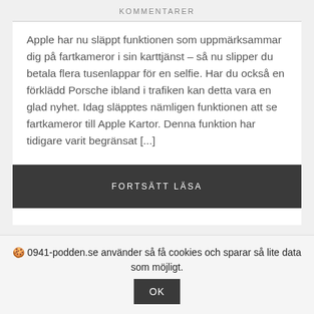KOMMENTARER
Apple har nu släppt funktionen som uppmärksammar dig på fartkameror i sin karttjänst – så nu slipper du betala flera tusenlappar för en selfie. Har du också en förklädd Porsche ibland i trafiken kan detta vara en glad nyhet. Idag släpptes nämligen funktionen att se fartkameror till Apple Kartor. Denna funktion har tidigare varit begränsat [...]
FORTSÄTT LÄSA
🍪 0941-podden.se använder så få cookies och sparar så lite data som möjligt.